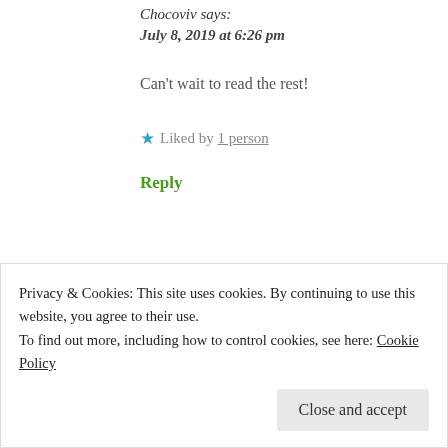Chocoviv says:
July 8, 2019 at 6:26 pm
Can't wait to read the rest!
★ Liked by 1 person
Reply
Syeda Saher says:
July 9, 2019 at 12:46 am
Privacy & Cookies: This site uses cookies. By continuing to use this website, you agree to their use.
To find out more, including how to control cookies, see here: Cookie Policy
Close and accept